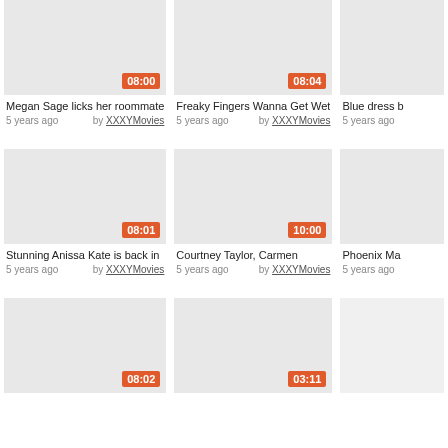[Figure (screenshot): Video thumbnail with duration badge 08:00]
Megan Sage licks her roommate
5 years ago  by XXXYMovies
[Figure (screenshot): Video thumbnail with duration badge 08:04]
Freaky Fingers Wanna Get Wet
5 years ago  by XXXYMovies
[Figure (screenshot): Video thumbnail partial (Blue dress ...)]
Blue dress b
5 years ago
[Figure (screenshot): Video thumbnail with duration badge 08:01]
Stunning Anissa Kate is back in
5 years ago  by XXXYMovies
[Figure (screenshot): Video thumbnail with duration badge 10:00]
Courtney Taylor, Carmen
5 years ago  by XXXYMovies
[Figure (screenshot): Video thumbnail partial (Phoenix Ma...)]
Phoenix Ma
5 years ago
[Figure (screenshot): Video thumbnail with duration badge 08:02]
[Figure (screenshot): Video thumbnail with duration badge 03:11]
[Figure (screenshot): Video thumbnail partial third column row 3]